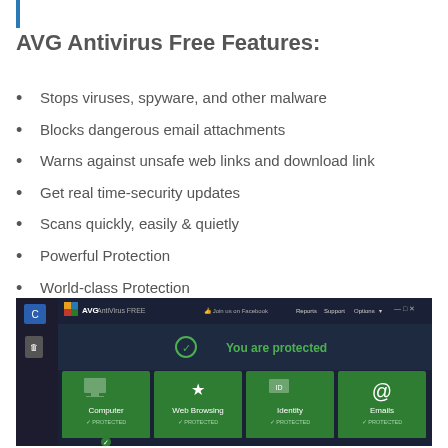AVG Antivirus Free Features:
Stops viruses, spyware, and other malware
Blocks dangerous email attachments
Warns against unsafe web links and download link
Get real time-security updates
Scans quickly, easily & quietly
Powerful Protection
World-class Protection
Real-time Protection your PC
[Figure (screenshot): AVG AntiVirus FREE application window showing 'You are protected' status with green tiles for Computer, Web Browsing, Identity, and Emails, all showing PROTECTED status.]